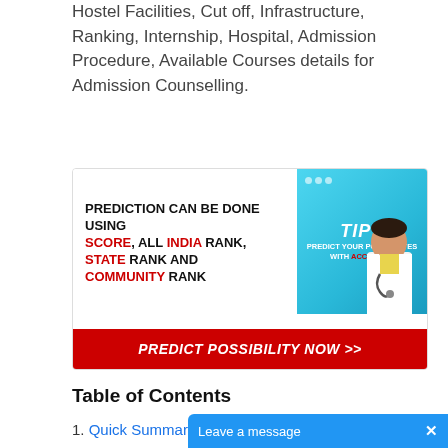Hostel Facilities, Cut off, Infrastructure, Ranking, Internship, Hospital, Admission Procedure, Available Courses details for Admission Counselling.
[Figure (infographic): Advertisement banner with text: 'PREDICTION CAN BE DONE USING SCORE, ALL INDIA RANK, STATE RANK AND COMMUNITY RANK' with TIP label on right side with doctor image and 'PREDICT YOUR POSSIBILITES WITH ACCURACY'. Red button at bottom: 'PREDICT POSSIBILITY NOW >>']
Table of Contents
1. Quick Summary
2. MBBS Course
2.1. Seats
2.2. Fees
2.3. Cut off 2021
2.4. Ranking